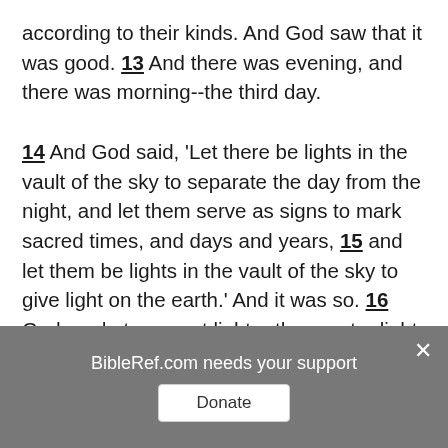according to their kinds. And God saw that it was good. 13 And there was evening, and there was morning--the third day.

14 And God said, 'Let there be lights in the vault of the sky to separate the day from the night, and let them serve as signs to mark sacred times, and days and years, 15 and let them be lights in the vault of the sky to give light on the earth.' And it was so. 16 God made two great lights--the greater light to govern the day and the lesser light to govern the night. He also made the stars. 17 God set them in the vault of the sky to give light on the
BibleRef.com needs your support
Donate